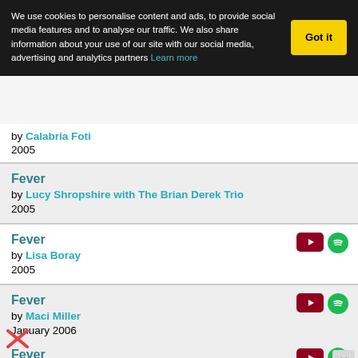We use cookies to personalise content and ads, to provide social media features and to analyse our traffic. We also share information about your use of our site with our social media, advertising and analytics partners Learn more  Got it
by Calabria Foti
2005
Fever
by Lucy Shropshire with The Brian Derek Trio
2005
Fever
by Lisa Boray
2005
Fever
by Maci Miller
January 2006